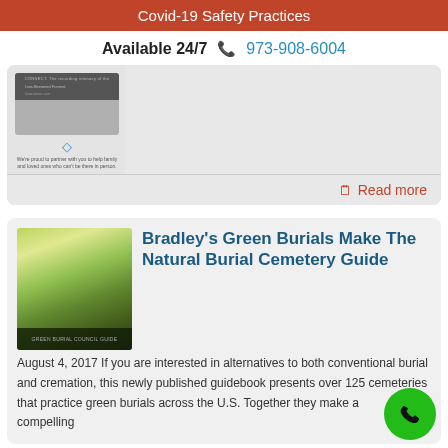Covid-19 Safety Practices
Available 24/7   📞 973-908-6004
[Figure (screenshot): Screenshot of a funeral live stream partner service card with a dark image, diamond icon, and caption about helping family and loved ones who can't be there in person.]
Read more
Bradley's Green Burials Make The Natural Burial Cemetery Guide
August 4, 2017 If you are interested in alternatives to both conventional burial and cremation, this newly published guidebook presents over 125 cemeteries that practice green burials across the U.S. Together they make a compelling